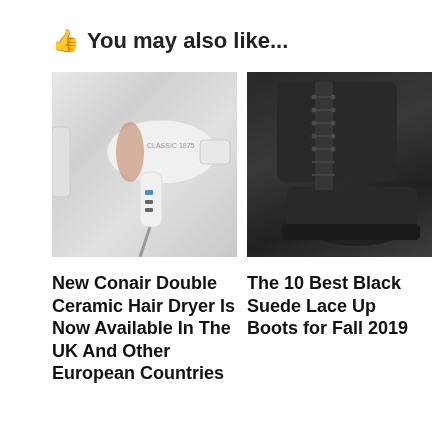👍 You may also like...
[Figure (photo): White Conair hair dryer with rose gold accents on a white/grey background]
[Figure (photo): Black suede lace-up boots on a grey background]
New Conair Double Ceramic Hair Dryer Is Now Available In The UK And Other European Countries
The 10 Best Black Suede Lace Up Boots for Fall 2019